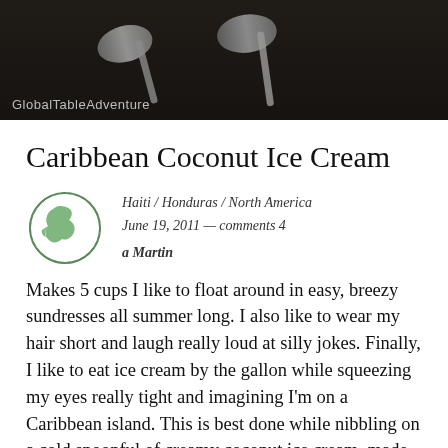[Figure (photo): Dark photograph of spoons on a wooden surface with GlobalTableAdventure watermark]
Caribbean Coconut Ice Cream
Haiti / Honduras / North America
June 19, 2011 — comments 4
a Martin
Makes 5 cups I like to float around in easy, breezy sundresses all summer long. I also like to wear my hair short and laugh really loud at silly jokes. Finally, I like to eat ice cream by the gallon while squeezing my eyes really tight and imagining I'm on a Caribbean island. This is best done while nibbling on a cold spoonful of creamy coconut ice cream, made even sweeter by the fact that I didn't have to turn on the stove – not even for one second – to make it. Call me a glutton for